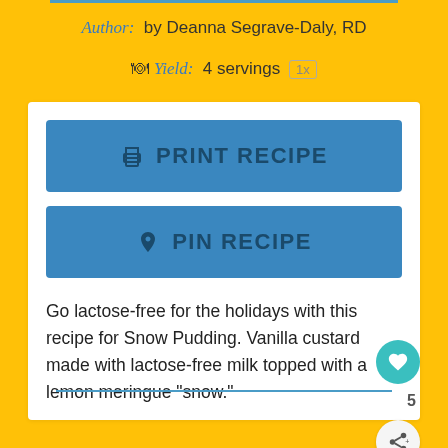Author: by Deanna Segrave-Daly, RD
Yield: 4 servings 1x
PRINT RECIPE
PIN RECIPE
Go lactose-free for the holidays with this recipe for Snow Pudding. Vanilla custard made with lactose-free milk topped with a lemon meringue “snow.”